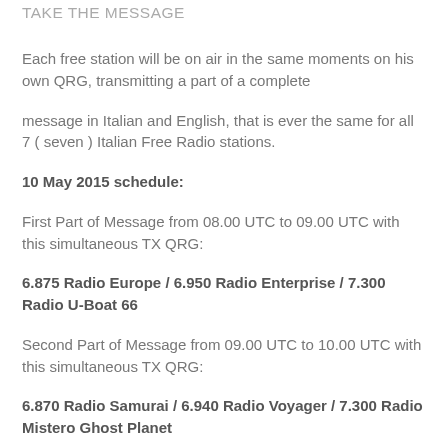TAKE THE MESSAGE
Each free station will be on air in the same moments on his own QRG, transmitting a part of a complete
message in Italian and English, that is ever the same for all 7 ( seven ) Italian Free Radio stations.
10 May 2015 schedule:
First Part of Message from 08.00 UTC to 09.00 UTC with this simultaneous TX QRG:
6.875 Radio Europe / 6.950 Radio Enterprise / 7.300 Radio U-Boat 66
Second Part of Message from 09.00 UTC to 10.00 UTC with this simultaneous TX QRG:
6.870 Radio Samurai / 6.940 Radio Voyager / 7.300 Radio Mistero Ghost Planet
The complete message will be transmitted instead only via: Radio